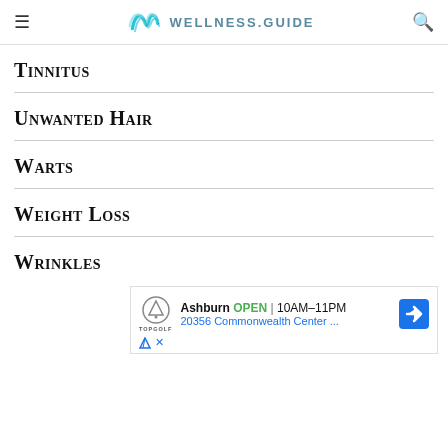WELLNESS.GUIDE
Tinnitus
Unwanted Hair
Warts
Weight Loss
Wrinkles
[Figure (other): Advertisement for Topgolf Ashburn: OPEN 10AM-11PM, 20356 Commonwealth Center...]